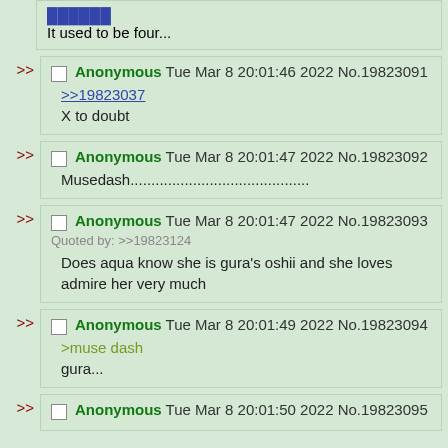It used to be four...
Anonymous Tue Mar 8 20:01:46 2022 No.19823091
>>19823037
X to doubt
Anonymous Tue Mar 8 20:01:47 2022 No.19823092
Musedash...........................................
Anonymous Tue Mar 8 20:01:47 2022 No.19823093
Quoted by: >>19823124
Does aqua know she is gura's oshii and she loves admire her very much
Anonymous Tue Mar 8 20:01:49 2022 No.19823094
>muse dash
gura...
Anonymous Tue Mar 8 20:01:50 2022 No.19823095